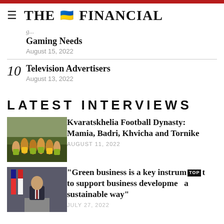THE FINANCIAL
Gaming Needs
August 15, 2022
10  Television Advertisers
August 13, 2022
LATEST INTERVIEWS
[Figure (photo): Group of young boys in green and yellow football kits posing together outdoors]
Kvaratskhelia Football Dynasty: Mamia, Badri, Khvicha and Tornike
AUGUST 11, 2022
[Figure (photo): Official man in suit speaking at a podium with flags in background]
"Green business is a key instrument to support business development in a sustainable way"
JULY 27, 2022